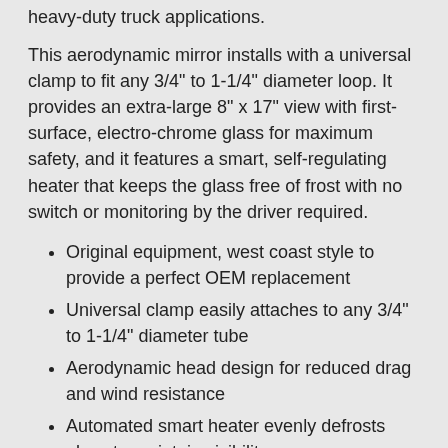heavy-duty truck applications.
This aerodynamic mirror installs with a universal clamp to fit any 3/4" to 1-1/4" diameter loop. It provides an extra-large 8" x 17" view with first-surface, electro-chrome glass for maximum safety, and it features a smart, self-regulating heater that keeps the glass free of frost with no switch or monitoring by the driver required.
Original equipment, west coast style to provide a perfect OEM replacement
Universal clamp easily attaches to any 3/4" to 1-1/4" diameter tube
Aerodynamic head design for reduced drag and wind resistance
Automated smart heater evenly defrosts glass to maintain visibility
Computer-printed heating element self-